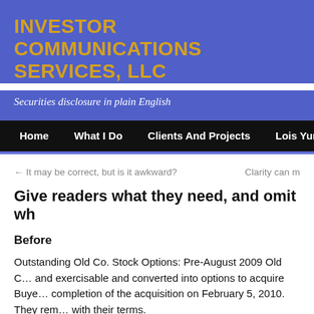INVESTOR COMMUNICATIONS SERVICES, LLC
Securities disclosure in plain English
Home   What I Do   Clients And Projects   Lois Yurow
← It may be correct, but is it awkward?    Clarity can m
Give readers what they need, and omit wh
Before
Outstanding Old Co. Stock Options: Pre-August 2009 Old Co. stock options that were vested and exercisable and converted into options to acquire Buyer common stock upon completion of the acquisition on February 5, 2010. They rem with their terms.